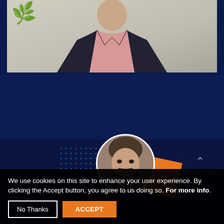[Figure (screenshot): Screenshot of a website showing a video call or webinar with a man in a dark suit and pink shirt, with plant foliage visible in the upper left. Below is a dark navy background section. A profile card shows a smiling man with dark hair and beard, a circular headshot, an orange geometric accent, and a 'Scroll to top' button. A cookie consent banner overlays the bottom with 'No Thanks' and 'ACCEPT' buttons.]
We use cookies on this site to enhance your user experience. By clicking the Accept button, you agree to us doing so. For more info.
No Thanks
ACCEPT
Scroll to top